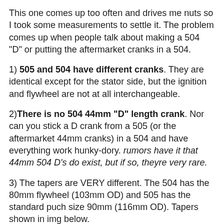This one comes up too often and drives me nuts so I took some measurements to settle it. The problem comes up when people talk about making a 504 "D" or putting the aftermarket cranks in a 504.
1) 505 and 504 have different cranks. They are identical except for the stator side, but the ignition and flywheel are not at all interchangeable.
2) There is no 504 44mm "D" length crank. Nor can you stick a D crank from a 505 (or the aftermarket 44mm cranks) in a 504 and have everything work hunky-dory. rumors have it that 44mm 504 D's do exist, but if so, theyre very rare.
3) The tapers are VERY different. The 504 has the 80mm flywheel (103mm OD) and 505 has the standard puch size 90mm (116mm OD). Tapers shown in img below. The 504 case does not fit a larger flywheel.